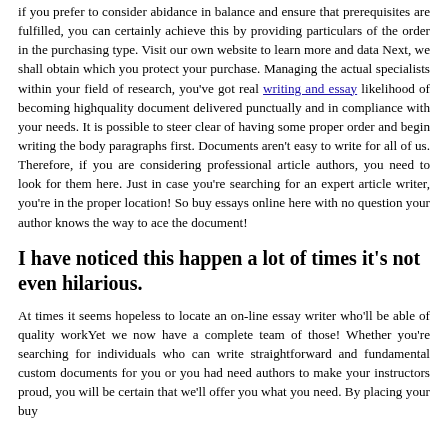if you prefer to consider abidance in balance and ensure that prerequisites are fulfilled, you can certainly achieve this by providing particulars of the order in the purchasing type. Visit our own website to learn more and data Next, we shall obtain which you protect your purchase. Managing the actual specialists within your field of research, you've got real writing and essay likelihood of becoming highquality document delivered punctually and in compliance with your needs. It is possible to steer clear of having some proper order and begin writing the body paragraphs first. Documents aren't easy to write for all of us. Therefore, if you are considering professional article authors, you need to look for them here. Just in case you're searching for an expert article writer, you're in the proper location! So buy essays online here with no question your author knows the way to ace the document!
I have noticed this happen a lot of times it's not even hilarious.
At times it seems hopeless to locate an on-line essay writer who'll be able of quality workYet we now have a complete team of those! Whether you're searching for individuals who can write straightforward and fundamental custom documents for you or you had need authors to make your instructors proud, you will be certain that we'll offer you what you need. By placing your buy